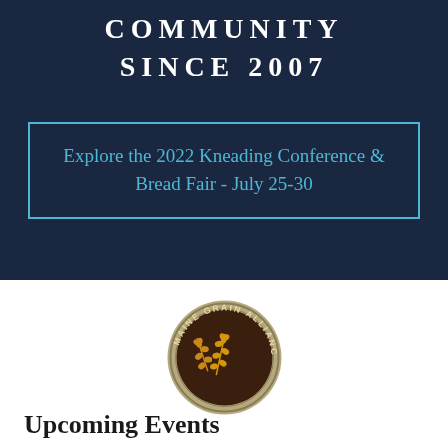COMMUNITY SINCE 2007
Explore the 2022 Kneading Conference & Bread Fair - July 25-30
[Figure (logo): Maine Grain Alliance circular logo with wheat stalks on dark brown background, olive/gold border ring with text 'MAINE GRAIN ALLIANCE' around the edge]
Upcoming Events